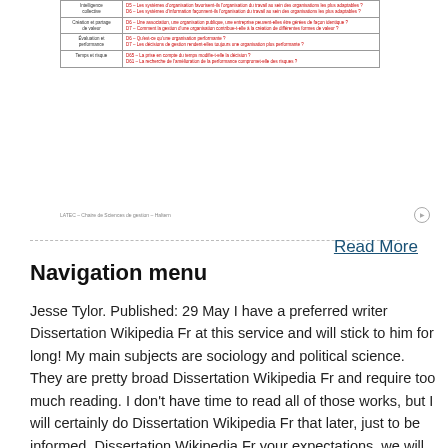[Figure (table-as-image): A table with French text showing management research questions, with categories like 'Intelligence collective', 'Création et partage de valeur', 'Évaluation et performance', 'Temps et risque'. Each row has question codes (D5, D6, D7, etc.) and questions in red text.]
LATEC – Chaire de Sciences de gestion – Haltern
Read More
Navigation menu
Jesse Tylor. Published: 29 May I have a preferred writer Dissertation Wikipedia Fr at this service and will stick to him for long! My main subjects are sociology and political science. They are pretty broad Dissertation Wikipedia Fr and require too much reading. I don't have time to read all of those works, but I will certainly do Dissertation Wikipedia Fr that later, just to be informed. Dissertation Wikipedia Fr your expectations, we will issue a Dissertation Wikipedia Fr refund. You Dissertation Wikipedia Fr can also request a free revision, if there are only slight inconsistencies in your order. Your writer will make the